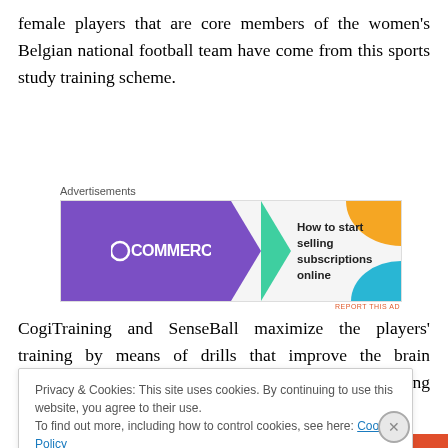female players that are core members of the women's Belgian national football team have come from this sports study training scheme.
[Figure (other): WooCommerce advertisement banner: 'How to start selling subscriptions online']
CogiTraining and SenseBall maximize the players' training by means of drills that improve the brain organization, therefore enabling faster decision-making and increased accuracy in their movements.
Privacy & Cookies: This site uses cookies. By continuing to use this website, you agree to their use. To find out more, including how to control cookies, see here: Cookie Policy